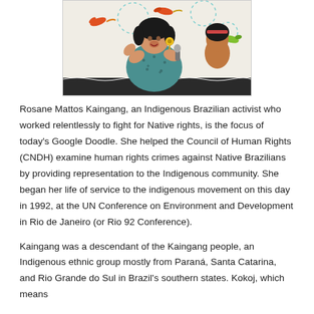[Figure (illustration): Google Doodle illustration of Rosane Mattos Kaingang, an Indigenous Brazilian woman holding a microphone, wearing a teal patterned dress with a flower earring, surrounded by colorful hummingbirds and dashed circular patterns. Another Indigenous figure appears to the right.]
Rosane Mattos Kaingang, an Indigenous Brazilian activist who worked relentlessly to fight for Native rights, is the focus of today's Google Doodle. She helped the Council of Human Rights (CNDH) examine human rights crimes against Native Brazilians by providing representation to the Indigenous community. She began her life of service to the indigenous movement on this day in 1992, at the UN Conference on Environment and Development in Rio de Janeiro (or Rio 92 Conference).
Kaingang was a descendant of the Kaingang people, an Indigenous ethnic group mostly from Paraná, Santa Catarina, and Rio Grande do Sul in Brazil's southern states. Kokoj, which means